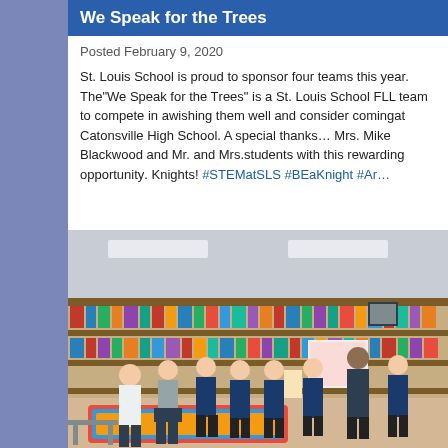We Speak for the Trees
Posted February 9, 2020
St. Louis School is proud to sponsor four teams this year. The"We Speak for the Trees" is a St. Louis School FLL team to compete in a regional competition. We are wishing them well and consider coming to cheer them on at Catonsville High School. A special thanks goes to Mr. and Mrs. Mike Blackwood and Mr. and Mrs. ... for providing students with this rewarding opportunity. Go Knights! #STEMatSLS #BEaKnight #Ar...
[Figure (photo): Group of students standing in a school library with bookshelves in the background]